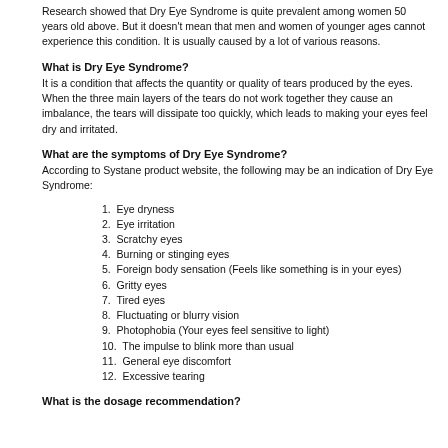Research showed that Dry Eye Syndrome is quite prevalent among women 50 years old above. But it doesn't mean that men and women of younger ages cannot experience this condition. It is usually caused by a lot of various reasons.
What is Dry Eye Syndrome?
It is a condition that affects the quantity or quality of tears produced by the eyes. When the three main layers of the tears do not work together they cause an imbalance, the tears will dissipate too quickly, which leads to making your eyes feel dry and irritated.
What are the symptoms of Dry Eye Syndrome?
According to Systane product website, the following may be an indication of Dry Eye Syndrome:
1. Eye dryness
2. Eye irritation
3. Scratchy eyes
4. Burning or stinging eyes
5. Foreign body sensation (Feels like something is in your eyes)
6. Gritty eyes
7. Tired eyes
8. Fluctuating or blurry vision
9. Photophobia (Your eyes feel sensitive to light)
10. The impulse to blink more than usual
11. General eye discomfort
12. Excessive tearing
What is the dosage recommendation?